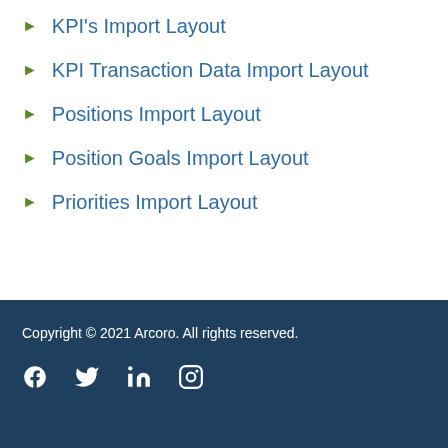KPI's Import Layout
KPI Transaction Data Import Layout
Positions Import Layout
Position Goals Import Layout
Priorities Import Layout
Copyright © 2021 Arcoro. All rights reserved.